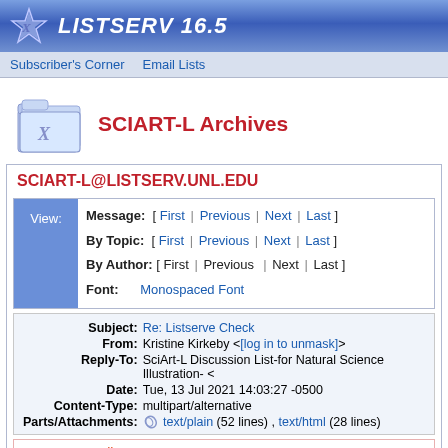LISTSERV 16.5
Subscriber's Corner  Email Lists
[Figure (logo): Folder icon with letter X]
SCIART-L Archives
SCIART-L@LISTSERV.UNL.EDU
View: Message: [ First | Previous | Next | Last ] By Topic: [ First | Previous | Next | Last ] By Author: [ First | Previous | Next | Last ] Font: Monospaced Font
| Field | Value |
| --- | --- |
| Subject: | Re: Listserve Check |
| From: | Kristine Kirkeby <[log in to unmask]> |
| Reply-To: | SciArt-L Discussion List-for Natural Science Illustration- < |
| Date: | Tue, 13 Jul 2021 14:03:27 -0500 |
| Content-Type: | multipart/alternative |
| Parts/Attachments: | text/plain (52 lines) , text/html (28 lines) |
Non-NU Email